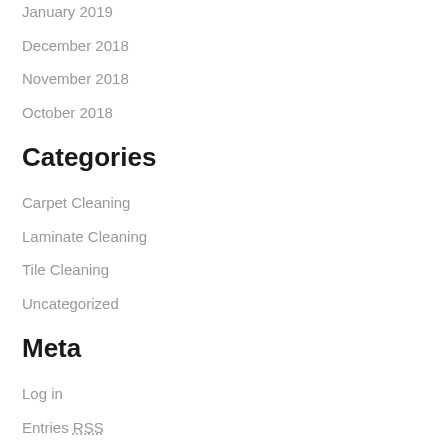January 2019
December 2018
November 2018
October 2018
Categories
Carpet Cleaning
Laminate Cleaning
Tile Cleaning
Uncategorized
Meta
Log in
Entries RSS
Comments RSS
WordPress.org